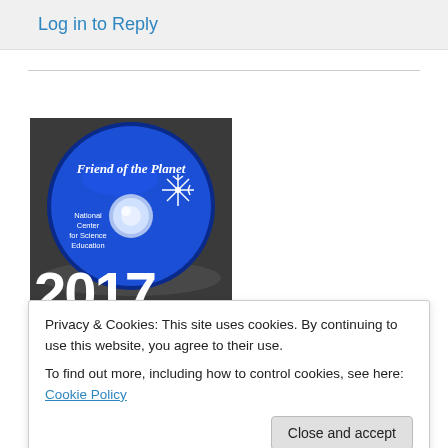Log in to Reply
[Figure (photo): Blue circular award disc labeled 'Friend of the Planet' with National Center for Science Education logo, with large white text '2017' at the bottom]
Privacy & Cookies: This site uses cookies. By continuing to use this website, you agree to their use.
To find out more, including how to control cookies, see here: Cookie Policy
Close and accept
Donate